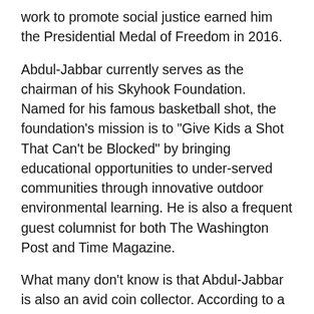work to promote social justice earned him the Presidential Medal of Freedom in 2016.
Abdul-Jabbar currently serves as the chairman of his Skyhook Foundation. Named for his famous basketball shot, the foundation’s mission is to “Give Kids a Shot That Can’t be Blocked” by bringing educational opportunities to under-served communities through innovative outdoor environmental learning. He is also a frequent guest columnist for both The Washington Post and Time Magazine.
What many don’t know is that Abdul-Jabbar is also an avid coin collector. According to a U.S. Mint press release, the NBA start became interested in numismatics based on his love of history and his study of Alexander Hamilton.
Congress established the CCAC in 2003 to advise the Secretary of the Treasury on the themes and designs of all US coins and medals. Members weigh in on theme or